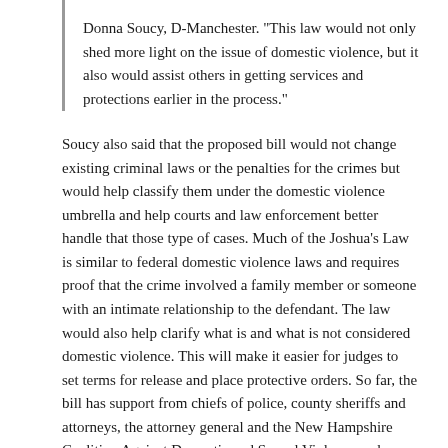Donna Soucy, D-Manchester. "This law would not only shed more light on the issue of domestic violence, but it also would assist others in getting services and protections earlier in the process."
Soucy also said that the proposed bill would not change existing criminal laws or the penalties for the crimes but would help classify them under the domestic violence umbrella and help courts and law enforcement better handle that those type of cases. Much of the Joshua's Law is similar to federal domestic violence laws and requires proof that the crime involved a family member or someone with an intimate relationship to the defendant. The law would also help clarify what is and what is not considered domestic violence. This will make it easier for judges to set terms for release and place protective orders. So far, the bill has support from chiefs of police, county sheriffs and attorneys, the attorney general and the New Hampshire Coalition Against Domestic and Sexual Violence and was endorsed unanimously by the Senate